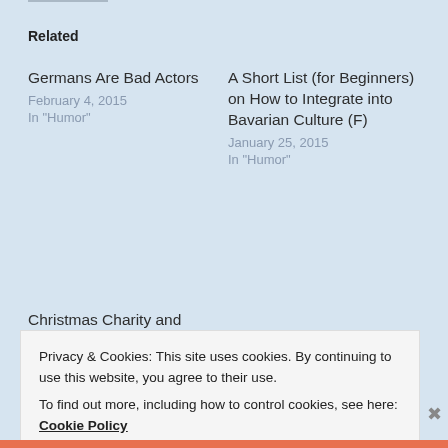Related
Germans Are Bad Actors
February 4, 2015
In "Humor"
A Short List (for Beginners) on How to Integrate into Bavarian Culture (F)
January 25, 2015
In "Humor"
Christmas Charity and Sunday Sidewalk Steals, Munich Style
December 14, 2014
In "Humor"
Privacy & Cookies: This site uses cookies. By continuing to use this website, you agree to their use.
To find out more, including how to control cookies, see here: Cookie Policy
Close and accept